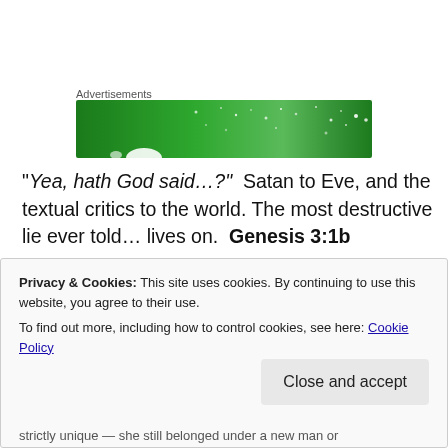[Figure (photo): Green advertisement banner with white sparkle dots on a dark and lighter green gradient background]
“Yea, hath God said…?”  Satan to Eve, and the textual critics to the world. The most destructive lie ever told… lives on.  Genesis 3:1b
Privacy & Cookies: This site uses cookies. By continuing to use this website, you agree to their use.
To find out more, including how to control cookies, see here: Cookie Policy
Close and accept
strictly unique — she still belonged under a new man or